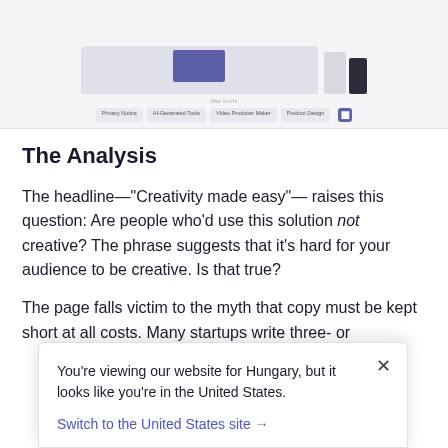[Figure (screenshot): Screenshot of a website UI showing a laptop and mobile devices with navigation tabs including pricing, solutions, video, and access options]
The Analysis
The headline—"Creativity made easy"— raises this question: Are people who'd use this solution not creative? The phrase suggests that it's hard for your audience to be creative. Is that true?
The page falls victim to the myth that copy must be kept short at all costs. Many startups write three- or
You're viewing our website for Hungary, but it looks like you're in the United States.
Switch to the United States site →
comes to communication.